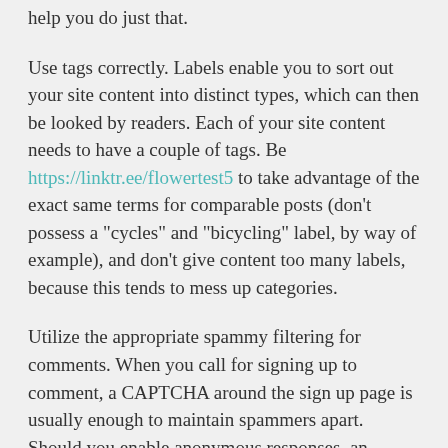help you do just that.
Use tags correctly. Labels enable you to sort out your site content into distinct types, which can then be looked by readers. Each of your site content needs to have a couple of tags. Be https://linktr.ee/flowertest5 to take advantage of the exact same terms for comparable posts (don't possess a "cycles" and "bicycling" label, by way of example), and don't give content too many labels, because this tends to mess up categories.
Utilize the appropriate spammy filtering for comments. When you call for signing up to comment, a CAPTCHA around the sign up page is usually enough to maintain spammers apart. Should you enable anonymous responses, an "innovative CAPTCHA," that may be, one who asks the consumer for "the amount of time per